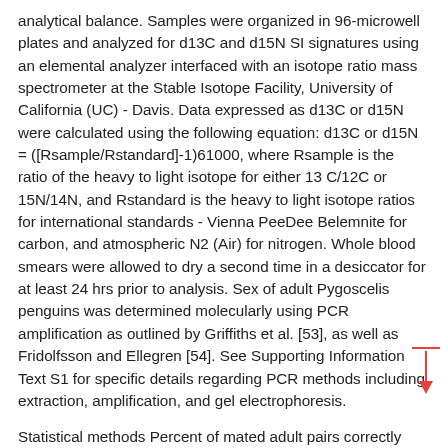analytical balance. Samples were organized in 96-microwell plates and analyzed for d13C and d15N SI signatures using an elemental analyzer interfaced with an isotope ratio mass spectrometer at the Stable Isotope Facility, University of California (UC) - Davis. Data expressed as d13C or d15N were calculated using the following equation: d13C or d15N = ([Rsample/Rstandard]-1)61000, where Rsample is the ratio of the heavy to light isotope for either 13 C/12C or 15N/14N, and Rstandard is the heavy to light isotope ratios for international standards - Vienna PeeDee Belemnite for carbon, and atmospheric N2 (Air) for nitrogen. Whole blood smears were allowed to dry a second time in a desiccator for at least 24 hrs prior to analysis. Sex of adult Pygoscelis penguins was determined molecularly using PCR amplification as outlined by Griffiths et al. [53], as well as Fridolfsson and Ellegren [54]. See Supporting Information Text S1 for specific details regarding PCR methods including extraction, amplification, and gel electrophoresis.
Statistical methods Percent of mated adult pairs correctly identified by the primers P2/P8 and 2550F/2718R was calculated for a subset of individuals. Correct identification was defined as both primers agreeing on a female or male sex assignment.